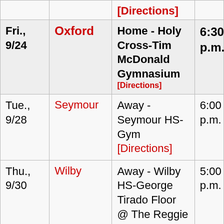| Date | Opponent | Location | Time |
| --- | --- | --- | --- |
| [Directions] (partial top row) |  |  |  |
| Fri., 9/24 | Oxford | Home - Holy Cross-Tim McDonald Gymnasium [Directions] | 6:30 p.m. |
| Tue., 9/28 | Seymour | Away - Seymour HS-Gym [Directions] | 6:00 p.m. |
| Thu., 9/30 | Wilby | Away - Wilby HS-George Tirado Floor @ The Reggie O'Brien | 5:00 p.m. |